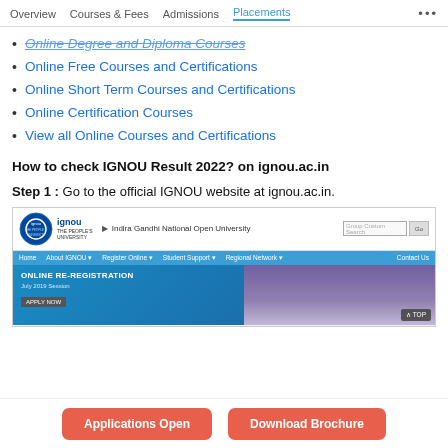Overview  Courses & Fees  Admissions  Placements  ...
Online Degree and Diploma Courses
Online Free Courses and Certifications
Online Short Term Courses and Certifications
Online Certification Courses
View all Online Courses and Certifications
How to check IGNOU Result 2022? on ignou.ac.in
Step 1 : Go to the official IGNOU website at ignou.ac.in.
[Figure (screenshot): Screenshot of the IGNOU official website (ignou.ac.in) showing the homepage with logo, navigation bar, and an Online Re-Registration banner for July 2019 Session with an Apply Now button, and a TOP button at bottom right.]
Applications Open   Download Brochure